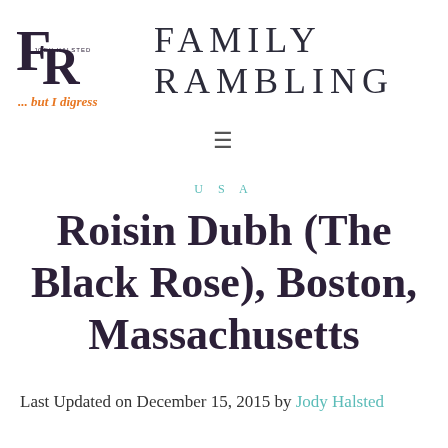FAMILY RAMBLING ... but I digress
USA
Roisin Dubh (The Black Rose), Boston, Massachusetts
Last Updated on December 15, 2015 by Jody Halsted